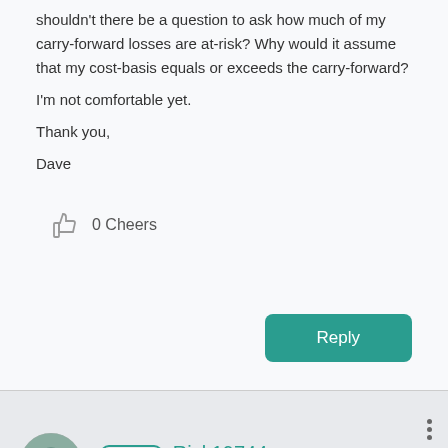shouldn't there be a question to ask how much of my carry-forward losses are at-risk?  Why would it assume that my cost-basis equals or exceeds the carry-forward?
I'm not comfortable yet.
Thank you,
Dave
0 Cheers
Reply
CHAMP  Rick19744
Level 12